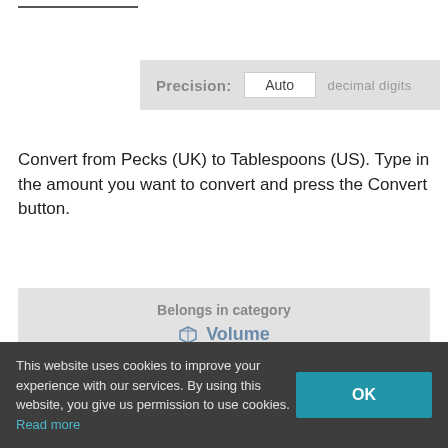Precision: Auto decimal digits
Convert from Pecks (UK) to Tablespoons (US). Type in the amount you want to convert and press the Convert button.
Belongs in category
Volume
To other units
This website uses cookies to improve your experience with our services. By using this website, you give us permission to use cookies. Read more